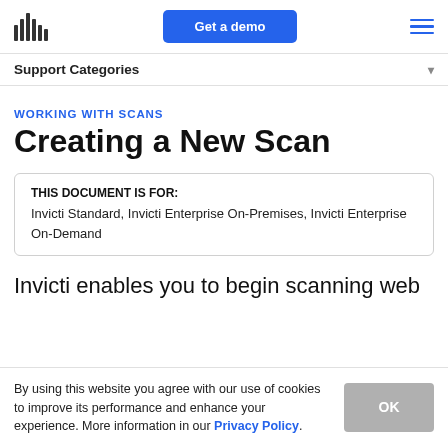[Figure (logo): Waveform bar logo icon (vertical bars of varying heights)]
Get a demo
Support Categories
WORKING WITH SCANS
Creating a New Scan
THIS DOCUMENT IS FOR: Invicti Standard, Invicti Enterprise On-Premises, Invicti Enterprise On-Demand
Invicti enables you to begin scanning web
By using this website you agree with our use of cookies to improve its performance and enhance your experience. More information in our Privacy Policy.